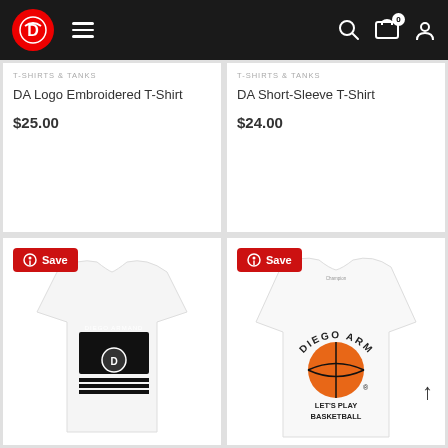Diego Armand store header with logo, hamburger menu, search, cart (0), and account icons
T-SHIRTS & TANKS
DA Logo Embroidered T-Shirt
$25.00
T-SHIRTS & TANKS
DA Short-Sleeve T-Shirt
$24.00
[Figure (photo): White t-shirt with Diego Armand logo graphic featuring black rectangle with DA logo and horizontal stripes]
[Figure (photo): White long-sleeve t-shirt with Diego Armand basketball graphic featuring orange basketball and text LET'S PLAY BASKETBALL]